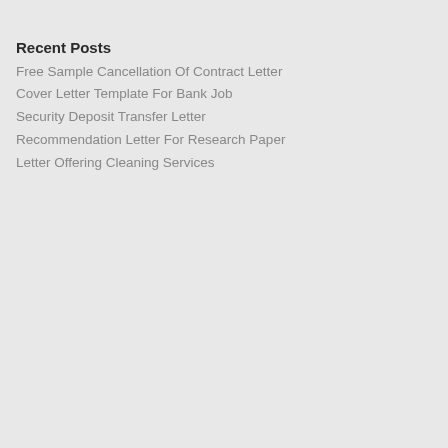Recent Posts
Free Sample Cancellation Of Contract Letter
Cover Letter Template For Bank Job
Security Deposit Transfer Letter
Recommendation Letter For Research Paper
Letter Offering Cleaning Services